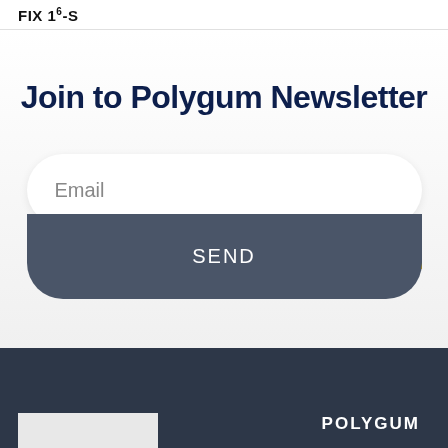FIX 16-S
Join to Polygum Newsletter
Email
SEND
POLYGUM